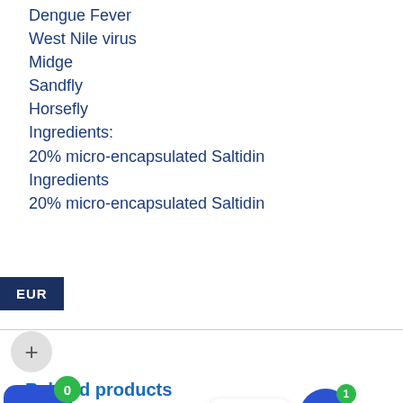Dengue Fever
West Nile virus
Midge
Sandfly
Horsefly
Ingredients:
20% micro-encapsulated Saltidin
Ingredients
20% micro-encapsulated Saltidin
EUR
Related products
[Figure (screenshot): Product card showing Aloclair Plus Spray for Mouth Ulcers with shopping basket icon showing 0 items]
[Figure (screenshot): Product card showing Acic antiviral cream 2g with Contact us chat bubble and badge showing 1 message]